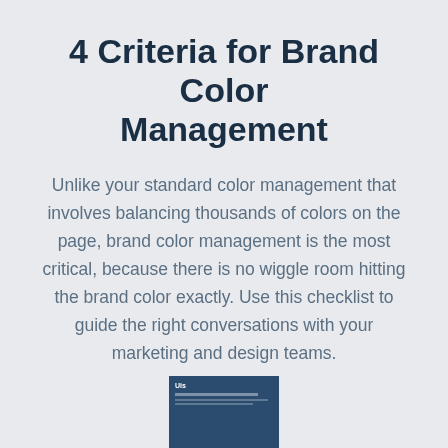4 Criteria for Brand Color Management
Unlike your standard color management that involves balancing thousands of colors on the page, brand color management is the most critical, because there is no wiggle room hitting the brand color exactly. Use this checklist to guide the right conversations with your marketing and design teams.
[Figure (other): Thumbnail preview of a document titled '4 Criteria for Brand Color Management' with a dark navy blue background]